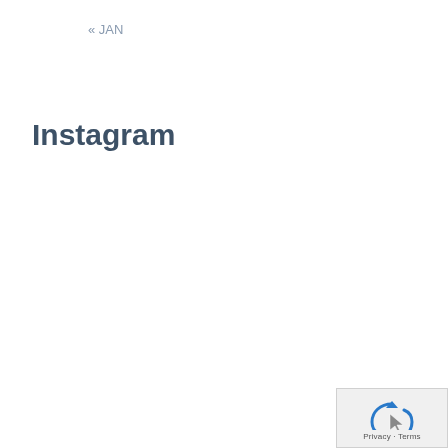« JAN
Instagram
[Figure (other): reCAPTCHA widget showing recycle/refresh arrows icon with cursor, and 'Privacy · Terms' text in bottom-right corner]